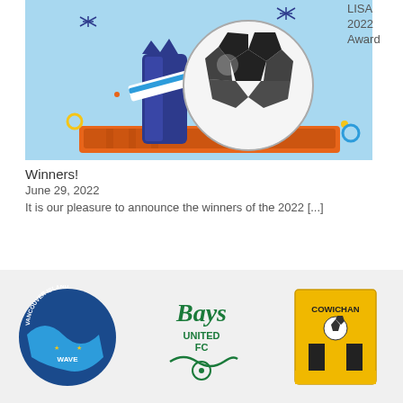[Figure (illustration): Soccer ball illustration with confetti, trophy, and celebration elements on a light blue background]
LISA
2022
Award
Winners!
June 29, 2022
It is our pleasure to announce the winners of the 2022 [...]
[Figure (logo): Vancouver Island league soccer logo - blue circular badge]
[Figure (logo): Bays United FC logo - green script text with wave and soccer ball]
[Figure (logo): Cowichan FC logo - yellow and black shield with vertical stripes]